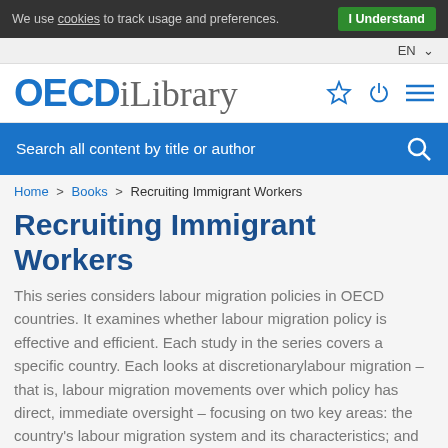We use cookies to track usage and preferences. I Understand
EN
[Figure (logo): OECD iLibrary logo with star, power, and menu icons]
Search all content by title or author
Home > Books > Recruiting Immigrant Workers
Recruiting Immigrant Workers
This series considers labour migration policies in OECD countries. It examines whether labour migration policy is effective and efficient. Each study in the series covers a specific country. Each looks at discretionarylabour migration – that is, labour migration movements over which policy has direct, immediate oversight – focusing on two key areas: the country's labour migration system and its characteristics; and the extent to which policy is responding to the needs of the domestic labour market and